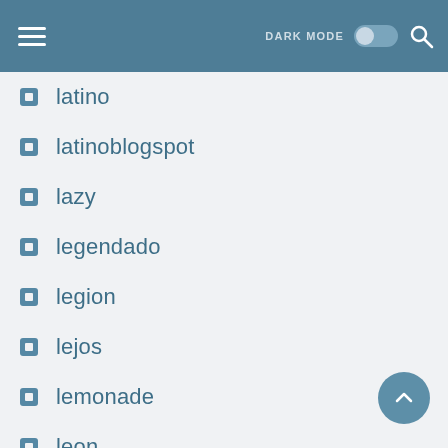DARK MODE [toggle] [search]
latino
latinoblogspot
lazy
legendado
legion
lejos
lemonade
leon
letztendlich
level
leyenda
libranos